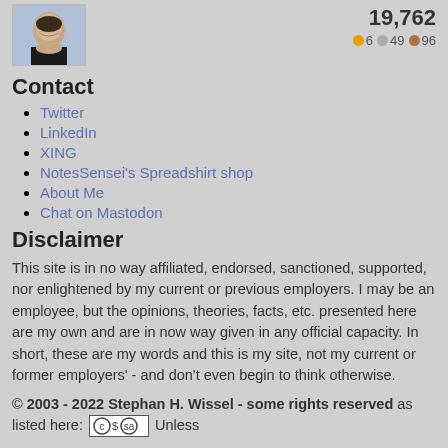[Figure (photo): Profile photo of a man smiling, wearing a black shirt]
19,762
●6 ●49 ●96
Contact
Twitter
LinkedIn
XING
NotesSensei's Spreadshirt shop
About Me
Chat on Mastodon
Disclaimer
This site is in no way affiliated, endorsed, sanctioned, supported, nor enlightened by my current or previous employers. I may be an employee, but the opinions, theories, facts, etc. presented here are my own and are in now way given in any official capacity. In short, these are my words and this is my site, not my current or former employers' - and don't even begin to think otherwise.
© 2003 - 2022 Stephan H. Wissel - some rights reserved as listed here: [CC BY-NC-SA] Unless